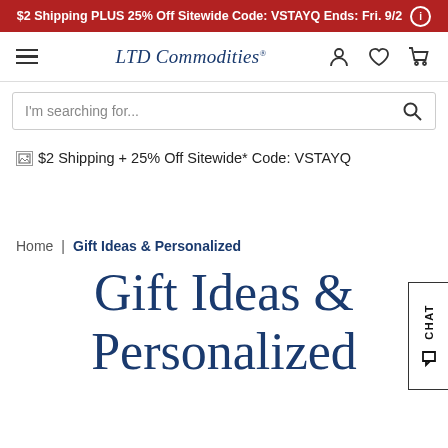$2 Shipping PLUS 25% Off Sitewide Code: VSTAYQ Ends: Fri. 9/2
[Figure (screenshot): LTD Commodities navigation bar with hamburger menu, brand logo, user icon, heart/wishlist icon, and cart icon]
I'm searching for...
$2 Shipping + 25% Off Sitewide* Code: VSTAYQ
Home | Gift Ideas & Personalized
Gift Ideas & Personalized